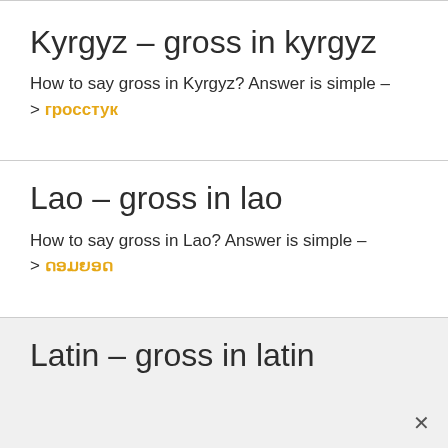Kyrgyz – gross in kyrgyz
How to say gross in Kyrgyz? Answer is simple –
> гросстук
Lao – gross in lao
How to say gross in Lao? Answer is simple –
> ດອມຍອດ
Latin – gross in latin